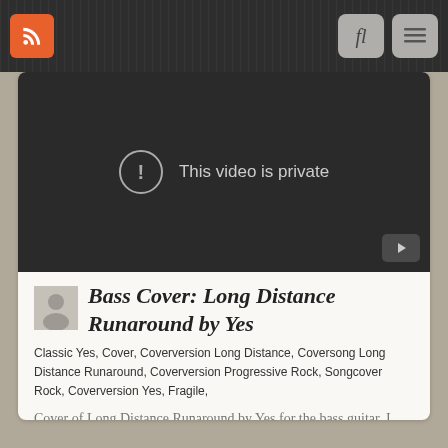Navigation bar with RSS icon, search and menu buttons
[Figure (screenshot): Video player showing 'This video is private' message with exclamation icon on dark background and YouTube play button in corner]
Bass Cover: Long Distance Runaround by Yes
Classic Yes, Cover, Coverversion Long Distance, Coversong Long Distance Runaround, Coverversion Progressive Rock, Songcover Rock, Coverversion Yes, Fragile,
Cover of Long Distance Runaround by Yes for the bass guitar. I used the stereo output on the bass to split the pickups to two different routes.
0